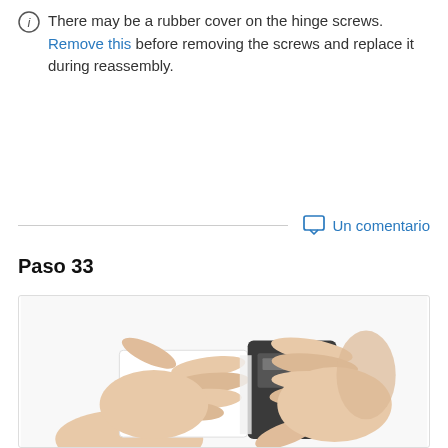There may be a rubber cover on the hinge screws. Remove this before removing the screws and replace it during reassembly.
Un comentario
Paso 33
[Figure (photo): Two hands pulling apart a smartphone — one hand holds the white front panel (screen) and the other holds the dark back casing, showing the device being separated at the hinge.]